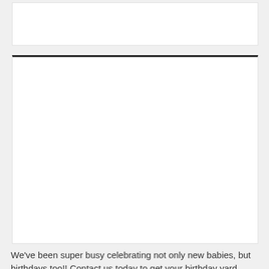[Figure (photo): White rectangular image area at top of page, appears mostly blank/white]
[Figure (photo): Large white rectangular image area with dark top border, appears mostly blank/white - likely a photo placeholder]
We've been super busy celebrating not only new babies, but birthdays too!! Contact us today to get your birthday yard sign in